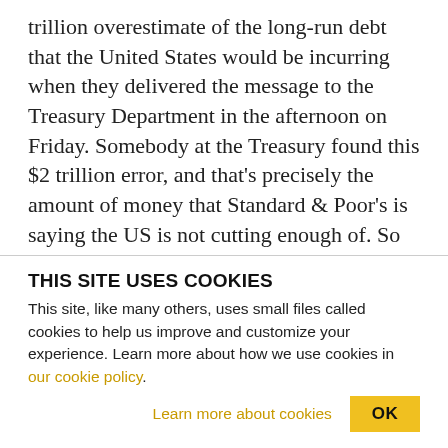trillion overestimate of the long-run debt that the United States would be incurring when they delivered the message to the Treasury Department in the afternoon on Friday. Somebody at the Treasury found this $2 trillion error, and that's precisely the amount of money that Standard & Poor's is saying the US is not cutting enough of. So error gone, problem solved. It's really a political and a strategic shot across the bow of the government. And the reason why is this. The Levin report–Carl Levin gave a congressional report saying that Standard & Poor's
THIS SITE USES COOKIES
This site, like many others, uses small files called cookies to help us improve and customize your experience. Learn more about how we use cookies in our cookie policy.
Learn more about cookies
OK